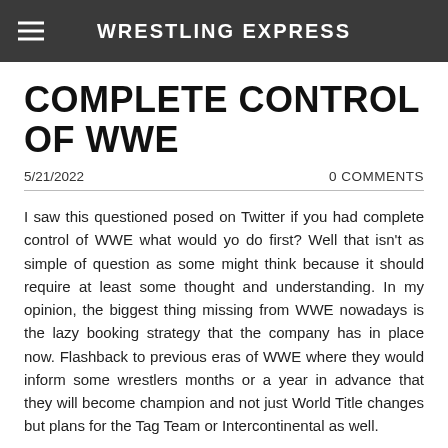WRESTLING EXPRESS
COMPLETE CONTROL OF WWE
5/21/2022   0 COMMENTS
I saw this questioned posed on Twitter if you had complete control of WWE what would yo do first? Well that isn't as simple of question as some might think because it should require at least some thought and understanding. In my opinion, the biggest thing missing from WWE nowadays is the lazy booking strategy that the company has in place now. Flashback to previous eras of WWE where they would inform some wrestlers months or a year in advance that they will become champion and not just World Title changes but plans for the Tag Team or Intercontinental as well.